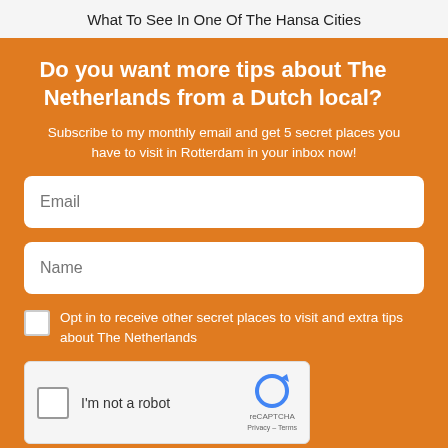What To See In One Of The Hansa Cities
Do you want more tips about The Netherlands from a Dutch local?
Subscribe to my monthly email and get 5 secret places you have to visit in Rotterdam in your inbox now!
Email
Name
Opt in to receive other secret places to visit and extra tips about The Netherlands
[Figure (screenshot): reCAPTCHA widget with 'I'm not a robot' checkbox, reCAPTCHA logo, Privacy and Terms links]
YES! SEND ME MY FREE ROTTERDAM TIPS